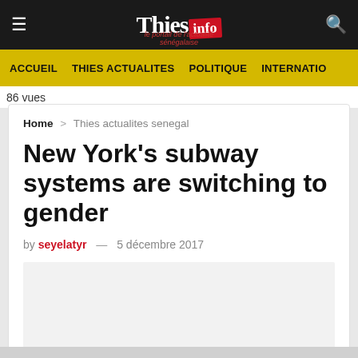Thies info — navigation: ACCUEIL, THIES ACTUALITES, POLITIQUE, INTERNATIO
86 vues
Home > Thies actualites senegal
New York's subway systems are switching to gender
by seyelatyr — 5 décembre 2017